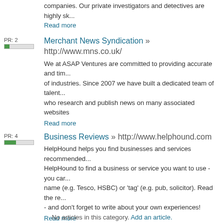companies. Our private investigators and detectives are highly sk...
Read more
Merchant News Syndication » http://www.mns.co.uk/
We at ASAP Ventures are committed to providing accurate and tim... of industries. Since 2007 we have built a dedicated team of talent... who research and publish news on many associated websites
Read more
Business Reviews » http://www.helphound.com
HelpHound helps you find businesses and services recommended... HelpHound to find a business or service you want to use - you car... name (e.g. Tesco, HSBC) or 'tag' (e.g. pub, solicitor). Read the re... - and don't forget to write about your own experiences!
Read more
GIS solutions India » http://www.dimensionigis.com/
DimensionI is a GIS services company based in India providing ex... for Telecom network maps, Power distribution maps, Transportatio... information system, utility mapping, survey maps digitisation, Con... Mapping, Thematic Mapping, Watershed Statistical Mapping, Topo...
Read more
No articles in this category. Add an article.